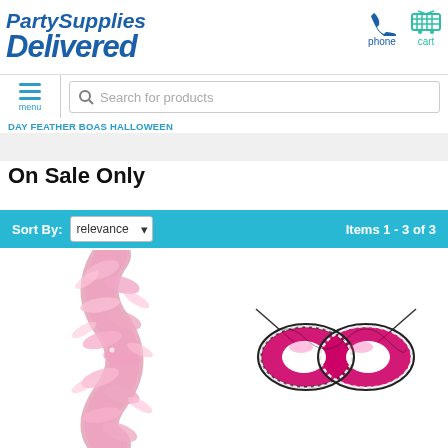[Figure (logo): Party Supplies Delivered logo in blue italic bold text]
[Figure (other): Phone icon with label 'phone' and shopping cart icon with label 'cart' in teal]
Search for products
DAY FEATHER BOAS HALLOWEEN
On Sale Only
Sort By: relevance   Items 1 - 3 of 3
[Figure (photo): Pink feather boa product image]
[Figure (photo): Pink and black masquerade mask product image]